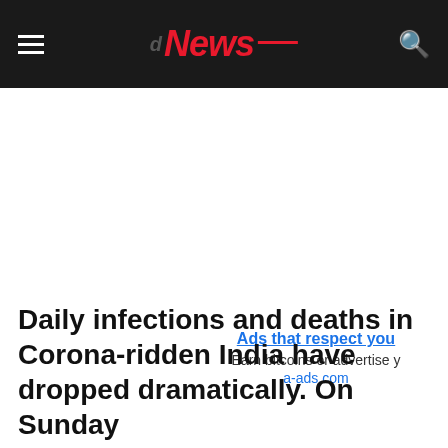News
Ads that respect you
Earn bitcoins or advertise y
a-ads.com
Daily infections and deaths in Corona-ridden India have dropped dramatically. On Sunday